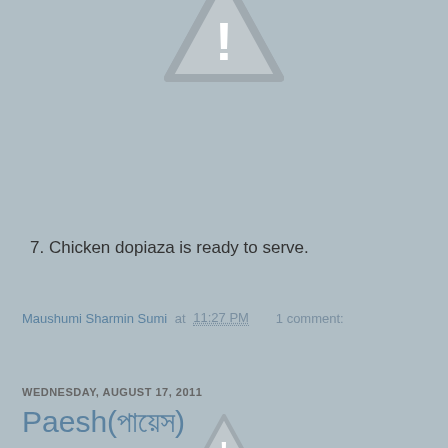[Figure (illustration): Warning/alert triangle icon with exclamation mark, partially visible at top of page, gray colored]
7. Chicken dopiaza is ready to serve.
Maushumi Sharmin Sumi at 11:27 PM    1 comment:
Share
WEDNESDAY, AUGUST 17, 2011
Paesh(পায়েস)
[Figure (illustration): Warning/alert triangle icon, partially visible at bottom of page, gray colored]